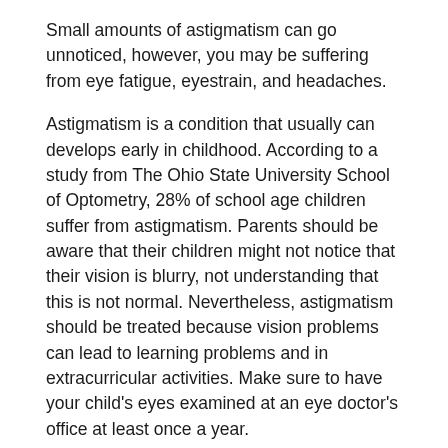Small amounts of astigmatism can go unnoticed, however, you may be suffering from eye fatigue, eyestrain, and headaches.
Astigmatism is a condition that usually can develops early in childhood. According to a study from The Ohio State University School of Optometry, 28% of school age children suffer from astigmatism. Parents should be aware that their children might not notice that their vision is blurry, not understanding that this is not normal. Nevertheless, astigmatism should be treated because vision problems can lead to learning problems and in extracurricular activities. Make sure to have your child's eyes examined at an eye doctor's office at least once a year.
Causes of Astigmatism
Astigmatism is generally caused by a cornea with an